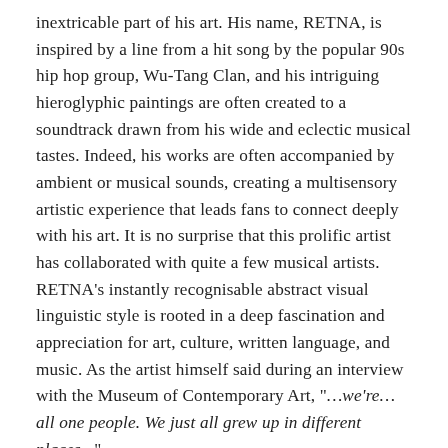inextricable part of his art. His name, RETNA, is inspired by a line from a hit song by the popular 90s hip hop group, Wu-Tang Clan, and his intriguing hieroglyphic paintings are often created to a soundtrack drawn from his wide and eclectic musical tastes. Indeed, his works are often accompanied by ambient or musical sounds, creating a multisensory artistic experience that leads fans to connect deeply with his art. It is no surprise that this prolific artist has collaborated with quite a few musical artists. RETNA's instantly recognisable abstract visual linguistic style is rooted in a deep fascination and appreciation for art, culture, written language, and music. As the artist himself said during an interview with the Museum of Contemporary Art, "…we're…all one people. We just all grew up in different places..."